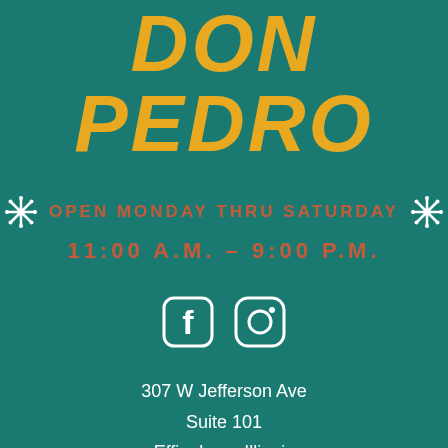Don Pedro
OPEN MONDAY THRU SATURDAY
11:00 A.M. – 9:00 P.M.
[Figure (illustration): Facebook and Instagram social media icons in white on teal background]
307 W Jefferson Ave
Suite 101
Effingham, Illinois
217.347.2216